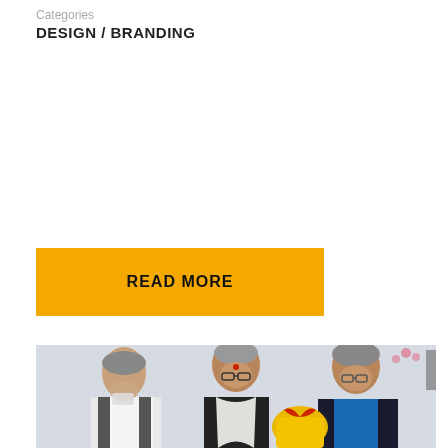Categories
DESIGN / BRANDING
READ MORE
[Figure (photo): Three men smiling and interacting indoors; the middle man wears a white scarf and red bindi, right man in blue shirt and dark blazer holds a yellow gift, left man in white vest with medical mask.]